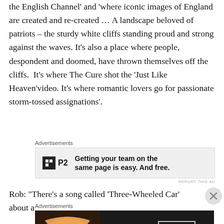the English Channel' and 'where iconic images of England are created and re-created … A landscape beloved of patriots – the sturdy white cliffs standing proud and strong against the waves. It's also a place where people, despondent and doomed, have thrown themselves off the cliffs.  It's where The Cure shot the 'Just Like Heaven'video. It's where romantic lovers go for passionate storm-tossed assignations'.
Advertisements
[Figure (other): Advertisement banner for P2 with text: Getting your team on the same page is easy. And free.]
Rob: “There’s a song called ‘Three-Wheeled Car’ about a
Advertisements
[Figure (other): Advertisement banner for Seamless with pizza image and ORDER NOW button]